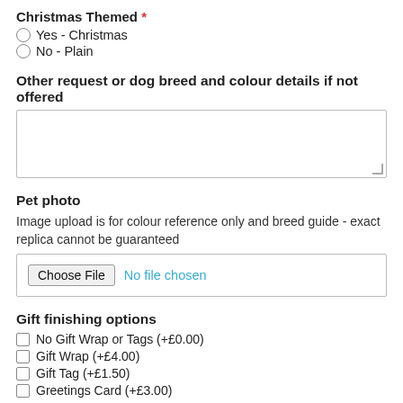Christmas Themed *
Yes - Christmas
No - Plain
Other request or dog breed and colour details if not offered
[Figure (other): Text area input box]
Pet photo
Image upload is for colour reference only and breed guide - exact replica cannot be guaranteed
[Figure (other): File upload input: Choose File button and 'No file chosen' text]
Gift finishing options
No Gift Wrap or Tags (+£0.00)
Gift Wrap (+£4.00)
Gift Tag (+£1.50)
Greetings Card (+£3.00)